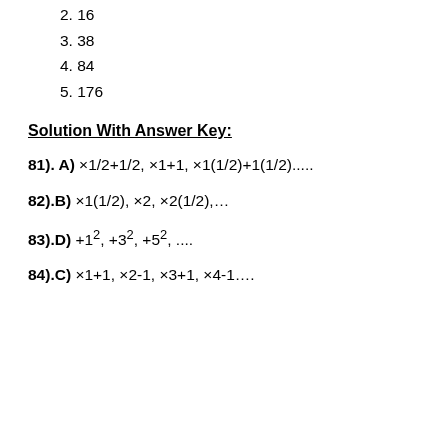2. 16
3. 38
4. 84
5. 176
Solution With Answer Key:
81). A) ×1/2+1/2, ×1+1, ×1(1/2)+1(1/2).....
82).B) ×1(1/2), ×2, ×2(1/2),...
83).D) +1², +3², +5², ....
84).C) ×1+1, ×2-1, ×3+1, ×4-1....